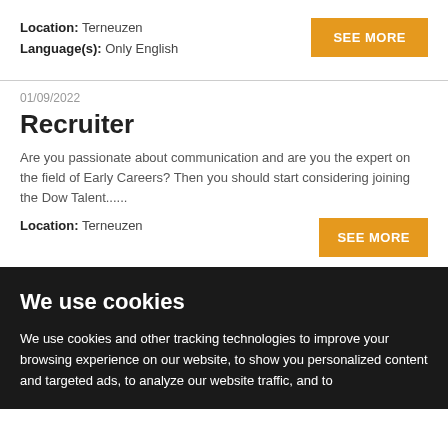Location: Terneuzen
Language(s): Only English
SEE MORE
01/09/2022
Recruiter
Are you passionate about communication and are you the expert on the field of Early Careers? Then you should start considering joining the Dow Talent......
Location: Terneuzen
SEE MORE
We use cookies
We use cookies and other tracking technologies to improve your browsing experience on our website, to show you personalized content and targeted ads, to analyze our website traffic, and to